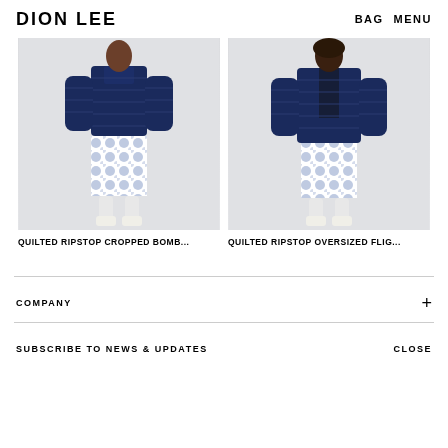DION LEE   BAG  MENU
[Figure (photo): Female model wearing navy quilted ripstop cropped bomber jacket with tie-dye print skirt and white boots, standing against light grey background]
QUILTED RIPSTOP CROPPED BOMB...
[Figure (photo): Male model wearing navy quilted ripstop oversized flight jacket with tie-dye print skirt and white boots, standing against light grey background]
QUILTED RIPSTOP OVERSIZED FLIG...
COMPANY  +
SUBSCRIBE TO NEWS & UPDATES   CLOSE